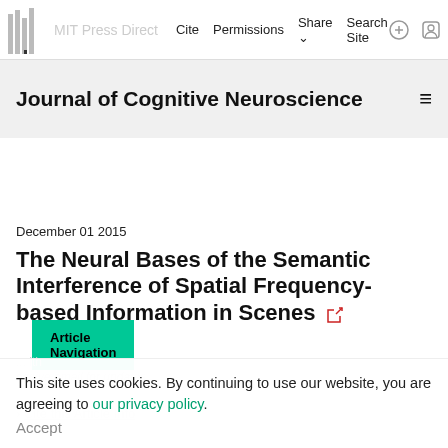MIT Press Direct  Cite  Permissions  Share  Search Site
Journal of Cognitive Neuroscience
Article Navigation
December 01 2015
The Neural Bases of the Semantic Interference of Spatial Frequency-based Information in Scenes
This site uses cookies. By continuing to use our website, you are agreeing to our privacy policy. Accept